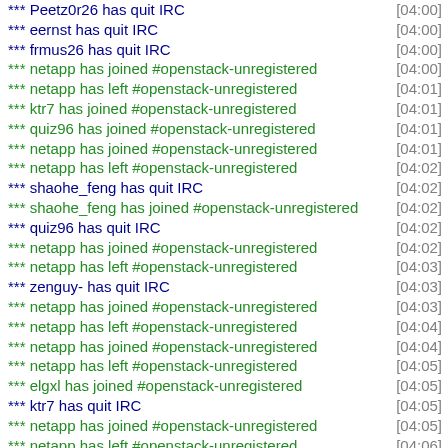*** Peetz0r26 has quit IRC [04:00]
*** eernst has quit IRC [04:00]
*** frmus26 has quit IRC [04:00]
*** netapp has joined #openstack-unregistered [04:00]
*** netapp has left #openstack-unregistered [04:01]
*** ktr7 has joined #openstack-unregistered [04:01]
*** quiz96 has joined #openstack-unregistered [04:01]
*** netapp has joined #openstack-unregistered [04:01]
*** netapp has left #openstack-unregistered [04:02]
*** shaohe_feng has quit IRC [04:02]
*** shaohe_feng has joined #openstack-unregistered [04:02]
*** quiz96 has quit IRC [04:02]
*** netapp has joined #openstack-unregistered [04:02]
*** netapp has left #openstack-unregistered [04:03]
*** zenguy- has quit IRC [04:03]
*** netapp has joined #openstack-unregistered [04:03]
*** netapp has left #openstack-unregistered [04:04]
*** netapp has joined #openstack-unregistered [04:04]
*** netapp has left #openstack-unregistered [04:05]
*** elgxl has joined #openstack-unregistered [04:05]
*** ktr7 has quit IRC [04:05]
*** netapp has joined #openstack-unregistered [04:05]
*** netapp has left #openstack-unregistered [04:06]